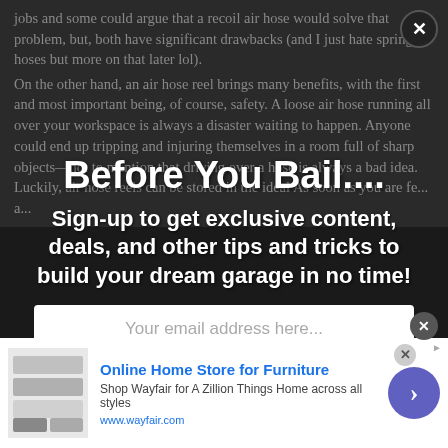jobs and some could argue that a recoil air hose would solve that problem, but, both have significant drawbacks (and I just hate springy hoses but more on that later lol).
Before You Bail....
Sign-up to get exclusive content, deals, and other tips and tricks to build your dream garage in no time!
On the other hand, an air hose reel brings many benefits, with the first and most important being, of course, safety. A loose air hose running all over your workspace is always a disaster waiting to happen. Anyone could end up tripping and injuring themselves in a room full of sharp objects—not to mention that driving over a hose is always a bad idea. Luckily, air hose reels can be stored in the ideal A soon as you are fe... a...
Your email address here...
✓ Sign Up
[Figure (screenshot): Advertisement banner for Wayfair Online Home Store for Furniture with product image, blue title text, description text, and circular call-to-action button with arrow]
Online Home Store for Furniture
Shop Wayfair for A Zillion Things Home across all styles
www.wayfair.com